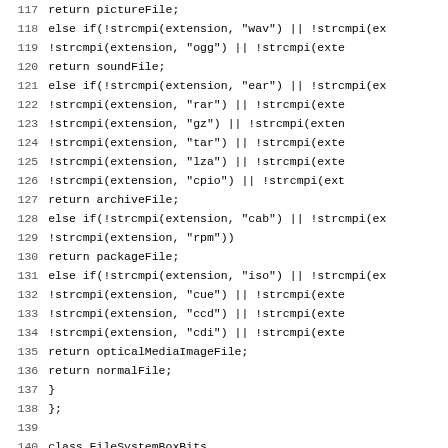Code listing lines 117-149, C++ source code for file type detection and FileSystemBoxBits/FileSystemBox class definitions